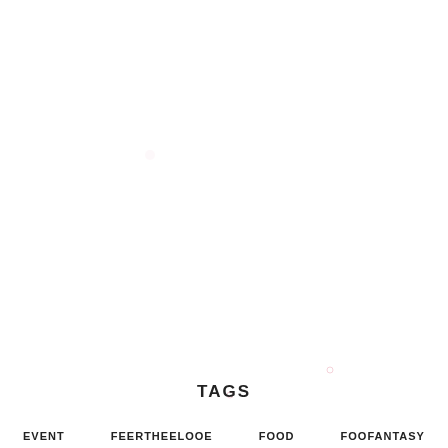[Figure (illustration): Decorative cherry blossom / sakura flower pattern background in light pink tones, scattered across the page with flowers more concentrated at the bottom]
TAGS
EVENT   FEERTHEELOOE   FOOD   FOOFANTASY